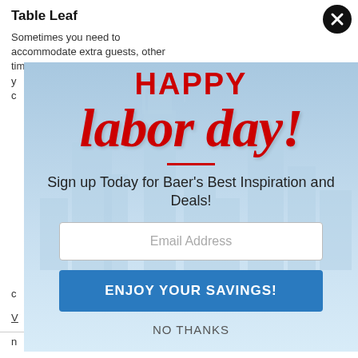Table Leaf
Sometimes you need to accommodate extra guests, other times y c
[Figure (screenshot): Labor Day promotional popup modal with city skyline background. Shows 'HAPPY' in bold red uppercase, 'labor day!' in large red italic script, a red horizontal divider line, text 'Sign up Today for Baer's Best Inspiration and Deals!', an email address input field, a blue 'ENJOY YOUR SAVINGS!' button, and a 'NO THANKS' link. A black close button (X) is in the top right corner.]
c
V
n